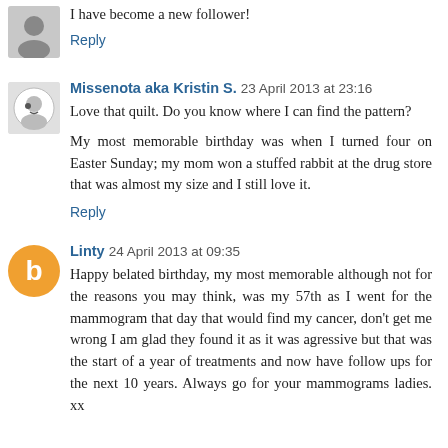I have become a new follower!
Reply
Missenota aka Kristin S. 23 April 2013 at 23:16
Love that quilt. Do you know where I can find the pattern?
My most memorable birthday was when I turned four on Easter Sunday; my mom won a stuffed rabbit at the drug store that was almost my size and I still love it.
Reply
Linty 24 April 2013 at 09:35
Happy belated birthday, my most memorable although not for the reasons you may think, was my 57th as I went for the mammogram that day that would find my cancer, don't get me wrong I am glad they found it as it was agressive but that was the start of a year of treatments and now have follow ups for the next 10 years. Always go for your mammograms ladies. xx